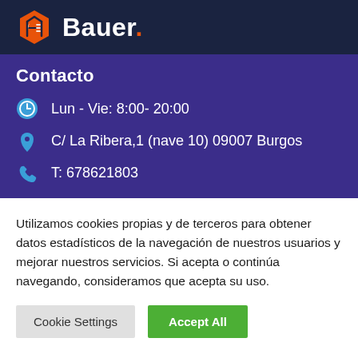[Figure (logo): Bauer brand logo with orange hexagon building icon and white bold text 'Bauer.' with orange period on dark navy background]
Contacto
Lun - Vie: 8:00- 20:00
C/ La Ribera,1 (nave 10) 09007 Burgos
T: 678621803
Utilizamos cookies propias y de terceros para obtener datos estadísticos de la navegación de nuestros usuarios y mejorar nuestros servicios. Si acepta o continúa navegando, consideramos que acepta su uso.
Cookie Settings | Accept All